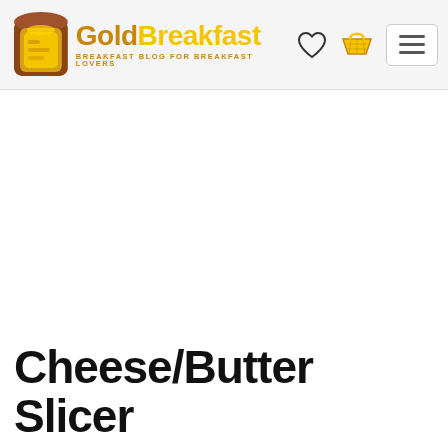GoldBreakfast — BREAKFAST BLOG FOR BREAKFAST LOVERS
[Figure (photo): Large white blank/empty product image area]
Cheese/Butter Slicer